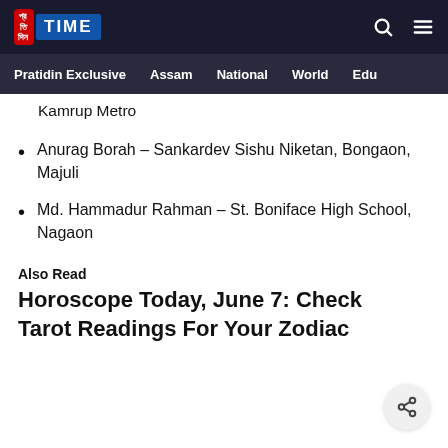Pratidin Time — navigation bar with logo, search, menu; secondary nav: Pratidin Exclusive, Assam, National, World, Edu
Kamrup Metro
Anurag Borah – Sankardev Sishu Niketan, Bongaon, Majuli
Md. Hammadur Rahman – St. Boniface High School, Nagaon
Also Read
Horoscope Today, June 7: Check Tarot Readings For Your Zodiac